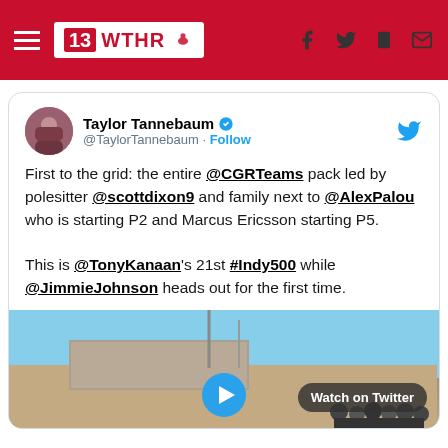13 WTHR — navigation header with hamburger menu and social icons
[Figure (screenshot): Taylor Tannebaum tweet card: 'First to the grid: the entire @CGRTeams pack led by polesitter @scottdixon9 and family next to @AlexPalou who is starting P2 and Marcus Ericsson starting P5. This is @TonyKanaan's 21st #Indy500 while @JimmieJohnson heads out for the first time.' with a video thumbnail showing Watch on Twitter button.]